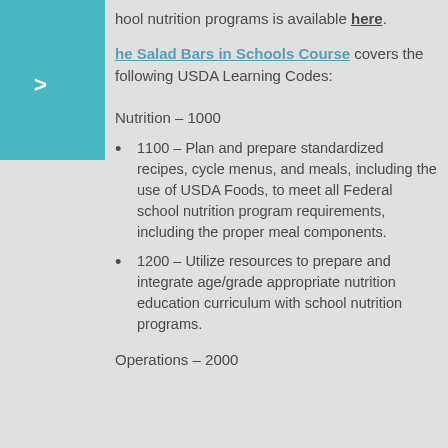hool nutrition programs is available here.
The Salad Bars in Schools Course covers the following USDA Learning Codes:
Nutrition – 1000
1100 – Plan and prepare standardized recipes, cycle menus, and meals, including the use of USDA Foods, to meet all Federal school nutrition program requirements, including the proper meal components.
1200 – Utilize resources to prepare and integrate age/grade appropriate nutrition education curriculum with school nutrition programs.
Operations – 2000